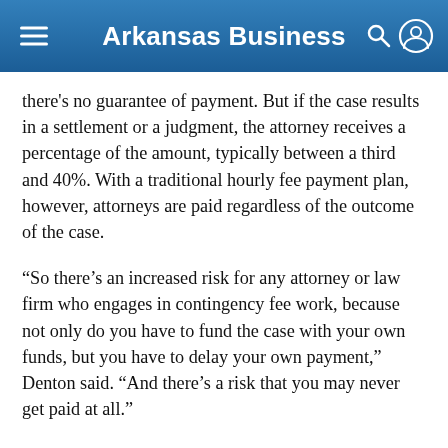Arkansas Business
there’s no guarantee of payment. But if the case results in a settlement or a judgment, the attorney receives a percentage of the amount, typically between a third and 40%. With a traditional hourly fee payment plan, however, attorneys are paid regardless of the outcome of the case.
“So there’s an increased risk for any attorney or law firm who engages in contingency fee work, because not only do you have to fund the case with your own funds, but you have to delay your own payment,” Denton said. “And there’s a risk that you may never get paid at all.”